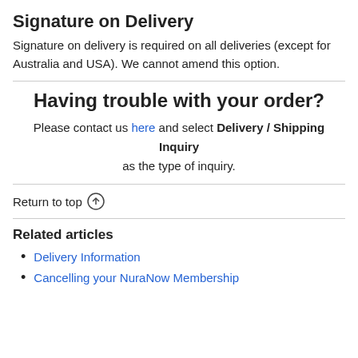Signature on Delivery
Signature on delivery is required on all deliveries (except for Australia and USA). We cannot amend this option.
Having trouble with your order?
Please contact us here and select Delivery / Shipping Inquiry as the type of inquiry.
Return to top ↑
Related articles
Delivery Information
Cancelling your NuraNow Membership